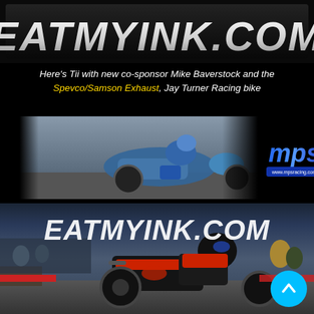[Figure (logo): EatMyInk.com logo banner — white italic bold text on dark background]
Here's Tii with new co-sponsor Mike Baverstock and the Spevco/Samson Exhaust, Jay Turner Racing bike
[Figure (photo): Motorcycle drag racing photo showing blue bike with rider leaning over it, plus MPS racing logo (www.mpsracing.com) on the right]
[Figure (photo): EatMyInk.com branded drag racing photo showing rider on black and red motorcycle at a race event with spectators in background]